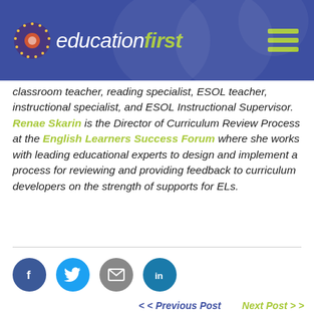education first
classroom teacher, reading specialist, ESOL teacher, instructional specialist, and ESOL Instructional Supervisor. Renae Skarin is the Director of Curriculum Review Process at the English Learners Success Forum where she works with leading educational experts to design and implement a process for reviewing and providing feedback to curriculum developers on the strength of supports for ELs.
[Figure (other): Social media share buttons: Facebook (blue circle), Twitter (light blue circle), Email (gray circle), LinkedIn (teal circle)]
< Previous Post   Next Post >